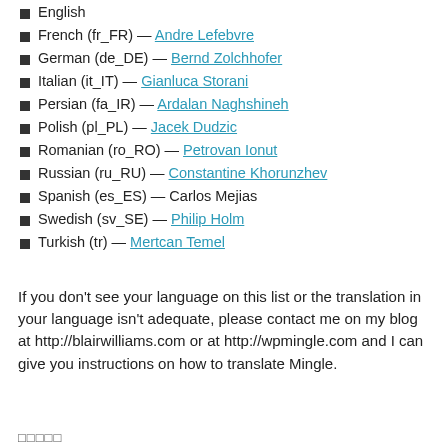English
French (fr_FR) — Andre Lefebvre
German (de_DE) — Bernd Zolchhofer
Italian (it_IT) — Gianluca Storani
Persian (fa_IR) — Ardalan Naghshineh
Polish (pl_PL) — Jacek Dudzic
Romanian (ro_RO) — Petrovan Ionut
Russian (ru_RU) — Constantine Khorunzhev
Spanish (es_ES) — Carlos Mejias
Swedish (sv_SE) — Philip Holm
Turkish (tr) — Mertcan Temel
If you don't see your language on this list or the translation in your language isn't adequate, please contact me on my blog at http://blairwilliams.com or at http://wpmingle.com and I can give you instructions on how to translate Mingle.
□□□□□